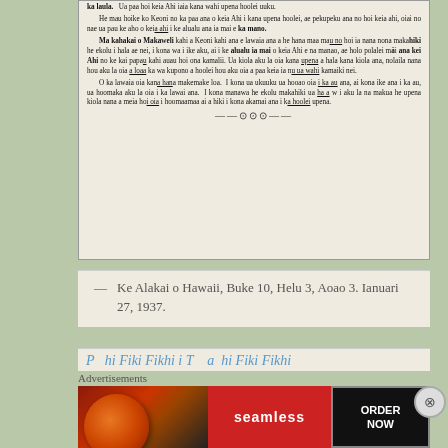ka laula. Ua paa hoi keia Ahi iaia kana wahi upena hoolei uuku. He mau hoike ko Keoni no ka paa ana o keia Ahi i kana upena hoolei, ae pekupeku ana no hoi keia ahi, oiai no nae ua pau ke aho o keia ahi i ke alualu ana ia mai e ka mano. Ma kahakai o Makaweli kahi a Keoni kahi ana e lawaia ana a he hana maa mau no hoi ia nana nona makahiki he ekolu i hala ae nei, i kona wa i ike aku, ai i ke alualu ia mai o keia Ahi e na manao, ae holo polalei mai ana kei Ahi no ke kai papau kahi auau hoi ona kamalii. Ua kiola aku la oia kana upena a hala kana kiola ana, nolaila nana hou aku la oia a loaa ka wa kupono a hoolei hou aku oia a paa keia ia nu ua wahi kamaiki nei. O ka lawaia oia kana hana makemake loa. I kona ua ukuuku ua hooao oia i ka au ana, ai kona ike ana i ka au, ua hoomaka aku la oia i ka lawai ana. I kona manawa he ekolu makahiki ua ha a w i aku la na makua he upena kiola nana a meia hoi oia i hoomaamaa ai a hiki i kona akamai ana i ka hoolei upena.
— Ke Alakai o Hawaii, Buke 10, Helu 3, Aoao 3. Ianuari 27, 1937.
[Figure (photo): Seamless food delivery advertisement showing pizza and ORDER NOW button]